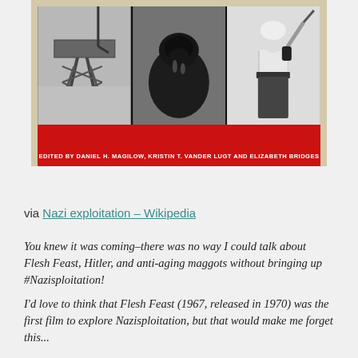[Figure (photo): Book cover image showing three black-and-white photos (a guard tower, a dark animal/bear, and a woman in dominatrix-style outfit), with a red flame band at the bottom reading 'EDITED BY DANIEL H. MAGILOW, KRISTIN T. VANDER LUGT AND ELIZABETH BRIDGES']
via Nazi exploitation – Wikipedia
You knew it was coming–there was no way I could talk about Flesh Feast, Hitler, and anti-aging maggots without bringing up #Nazisploitation!
I'd love to think that Flesh Feast (1967, released in 1970) was the first film to explore Nazisploitation, but that would make me forget this...